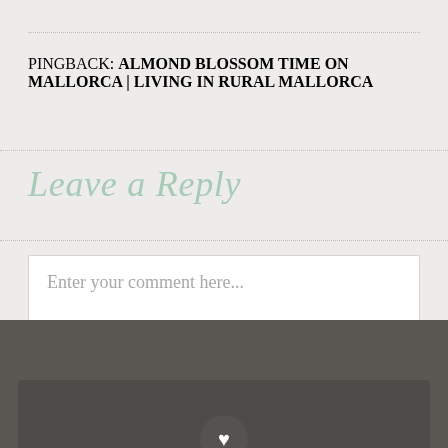PINGBACK: ALMOND BLOSSOM TIME ON MALLORCA | LIVING IN RURAL MALLORCA
Leave a Reply
Enter your comment here...
FOLLOW BLOG VIA EMAIL
Enter your email address to follow this blog and